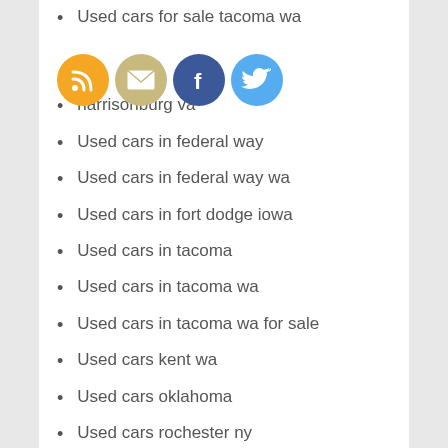Used cars for sale tacoma wa
Used cars harrisonburg va
Used cars in federal way
Used cars in federal way wa
Used cars in fort dodge iowa
Used cars in tacoma
Used cars in tacoma wa
Used cars in tacoma wa for sale
Used cars kent wa
Used cars oklahoma
Used cars rochester ny
Used cars saginaw mi